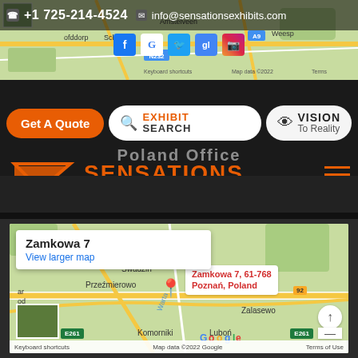[Figure (screenshot): Website header of Sensations Exhibits showing contact bar with phone +1 725-214-4524 and email info@sensationsexhibits.com, social media icons, navigation buttons (Get A Quote, Exhibit Search, Vision To Reality), logo with sigma symbol, company name SENSATIONS, and Poland Office address: Zamkowa 7/11 61-768 Poznan, Poland NIP: 7831749129]
[Figure (map): Google Maps screenshot showing location of Zamkowa 7, 61-768 Poznan, Poland with a red pin marker. Map shows surrounding areas including Przezmierowo, Swadzim, Komorniki, Lubon, Zalasewo. Roads E261 and 92 visible. Map data 2022 Google.]